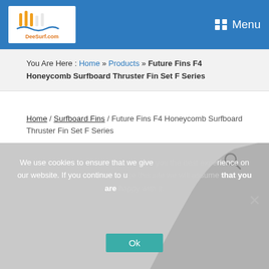DeeSurf.com — Menu
You Are Here : Home » Products » Future Fins F4 Honeycomb Surfboard Thruster Fin Set F Series
Home / Surfboard Fins / Future Fins F4 Honeycomb Surfboard Thruster Fin Set F Series
[Figure (other): Search magnifying glass icon]
We use cookies to ensure that we give you the best experience on our website. If you continue to use this site we will assume that you are happy with it.
Ok